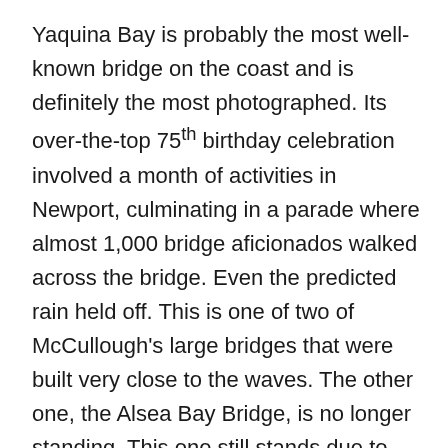Yaquina Bay is probably the most well-known bridge on the coast and is definitely the most photographed. Its over-the-top 75th birthday celebration involved a month of activities in Newport, culminating in a parade where almost 1,000 bridge aficionados walked across the bridge. Even the predicted rain held off. This is one of two of McCullough's large bridges that were built very close to the waves. The other one, the Alsea Bay Bridge, is no longer standing. This one still stands due to restoration and cathodic protection completed in three different sessions over a 10-year period on the reinforced concrete portions of the bridge and due to almost constant maintenance of the three main arches that are constructed of steel. Every part of this bridge is worth checking out, even the stairways. At each end of the bridge are two elaborately decorated stairways—one on each side—to